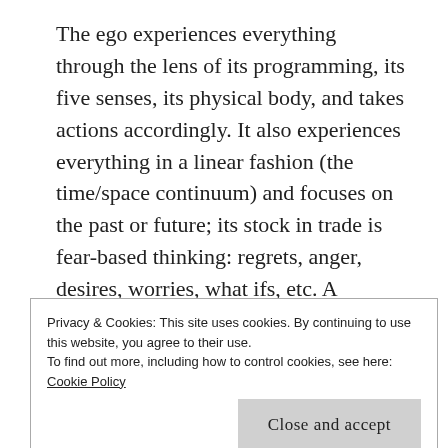The ego experiences everything through the lens of its programming, its five senses, its physical body, and takes actions accordingly. It also experiences everything in a linear fashion (the time/space continuum) and focuses on the past or future; its stock in trade is fear-based thinking: regrets, anger, desires, worries, what ifs, etc. A favorite thought pattern of the ego is judgment; judge yourself or judge others—the ego doesn't care which! If and when you catch yourself thinking about how you are unworthy, undeserving, unlucky or not good enough (not rich enough, not smart enough, not pretty
Privacy & Cookies: This site uses cookies. By continuing to use this website, you agree to their use.
To find out more, including how to control cookies, see here: Cookie Policy
Close and accept
we perceive everyone and everything in the world